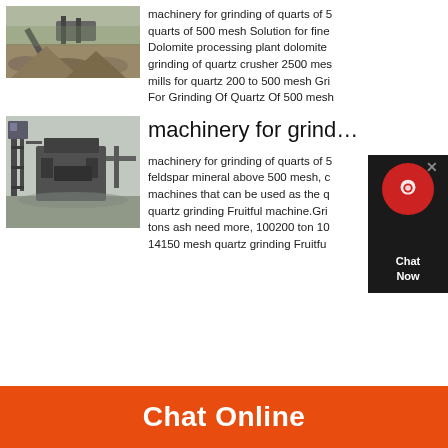[Figure (photo): Quarry or mining site with crusher machinery and aggregate piles]
machinery for grinding of quarts of 500 mesh Solution for fine Dolomite processing plant dolomite grinding of quartz crusher 2500 mesh mills for quartz 200 to 500 mesh Machinery For Grinding Of Quartz Of 500 mesh
[Figure (photo): Industrial crushing or screening machinery structure at a mining site]
machinery for grind…
machinery for grinding of quarts of 500 mesh feldspar mineral above 500 mesh, machines that can be used as the quartz grinding Fruitful machine.Grinding tons ash need more, 100200 ton 100 14150 mesh quartz grinding Fruitful
Chat Online